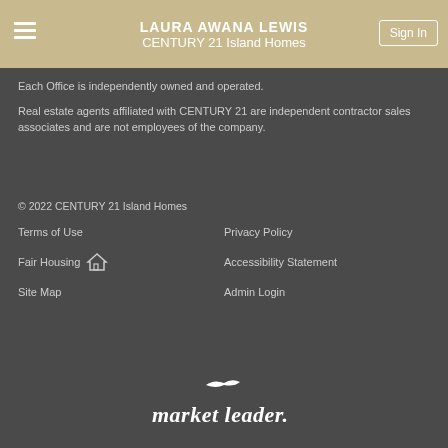LAURA AWANA LEWIS
CENTURY 21 Island Homes
Each Office is independently owned and operated.
Real estate agents affiliated with CENTURY 21 are independent contractor sales associates and are not employees of the company.
© 2022 CENTURY 21 Island Homes
Terms of Use
Privacy Policy
Fair Housing
Accessibility Statement
Site Map
Admin Login
[Figure (logo): market leader logo in white italic text with a stylized bird above]